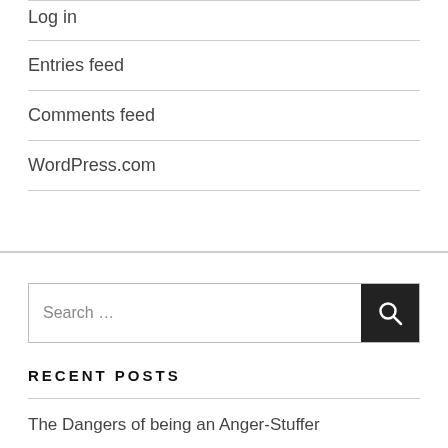Log in
Entries feed
Comments feed
WordPress.com
Search …
RECENT POSTS
The Dangers of being an Anger-Stuffer